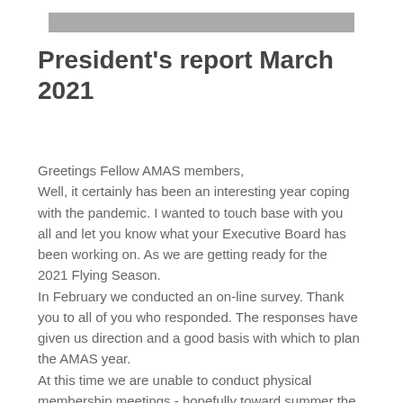President's report March 2021
Greetings Fellow AMAS members, Well, it certainly has been an interesting year coping with the pandemic. I wanted to touch base with you all and let you know what your Executive Board has been working on. As we are getting ready for the 2021 Flying Season.
In February we conducted an on-line survey. Thank you to all of you who responded. The responses have given us direction and a good basis with which to plan the AMAS year.
At this time we are unable to conduct physical membership meetings - hopefully toward summer the CoVid - 19